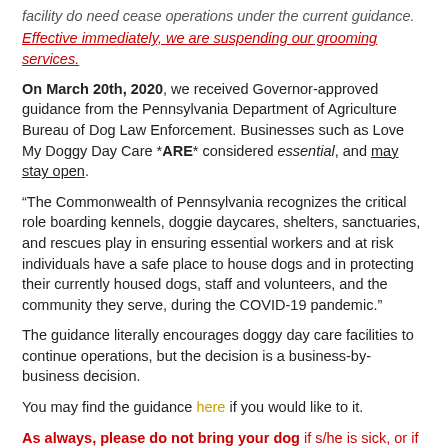facility do need cease operations under the current guidance.
Effective immediately, we are suspending our grooming services.
On March 20th, 2020, we received Governor-approved guidance from the Pennsylvania Department of Agriculture Bureau of Dog Law Enforcement. Businesses such as Love My Doggy Day Care *ARE* considered essential, and may stay open.
“The Commonwealth of Pennsylvania recognizes the critical role boarding kennels, doggie daycares, shelters, sanctuaries, and rescues play in ensuring essential workers and at risk individuals have a safe place to house dogs and in protecting their currently housed dogs, staff and volunteers, and the community they serve, during the COVID-19 pandemic.”
The guidance literally encourages doggy day care facilities to continue operations, but the decision is a business-by-business decision.
You may find the guidance here if you would like to it.
As always, please do not bring your dog if s/he is sick, or if s/he is in a COVID-19 positive household. Thank you.
Changes you can expect: